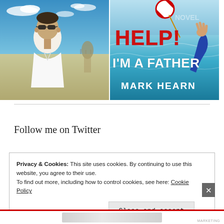[Figure (photo): Photo of a man wearing sunglasses and a white polo shirt, standing outdoors in front of a sculpture, with a blue sky and clouds in the background.]
[Figure (illustration): Book cover for 'Help! I'm A Father' by Mark Hearn. Red text 'HELP!' and white text 'I'M A FATHER' and 'MARK HEARN' on a teal ocean background with a life preserver and a hand reaching out of the water.]
Follow me on Twitter
Privacy & Cookies: This site uses cookies. By continuing to use this website, you agree to their use.
To find out more, including how to control cookies, see here: Cookie Policy
Close and accept